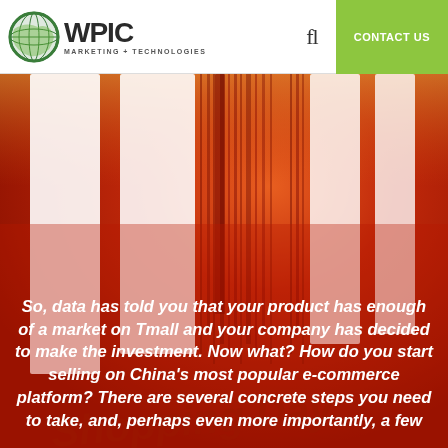WPIC MARKETING + TECHNOLOGIES — CONTACT US
[Figure (photo): Red background promotional/hero image showing large stylized barcode or tall white rectangles on a red background with 'Shopping Day' text partially visible]
So, data has told you that your product has enough of a market on Tmall and your company has decided to make the investment. Now what? How do you start selling on China's most popular e-commerce platform? There are several concrete steps you need to take, and, perhaps even more importantly, a few